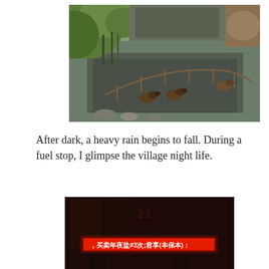[Figure (photo): Aerial view of ducks swimming in a muddy pond or stream enclosed by a wire fence, with green grass and vegetation on the bank, viewed from above.]
After dark, a heavy rain begins to fall. During a fuel stop, I glimpse the village night life.
[Figure (photo): Dark nighttime photo showing a glowing red LED sign with Chinese characters reading approximately: 买卖年夜盐#3次;君享(丰保本): against a very dark background.]